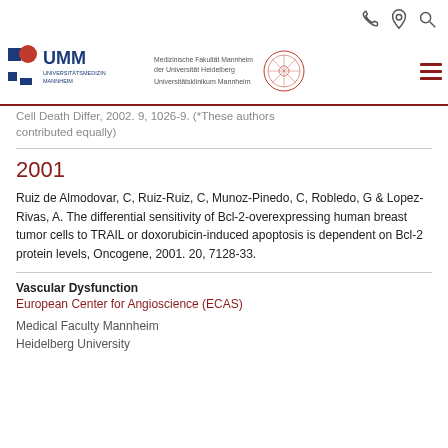UMM Universitätsmedizin Mannheim — Medizinische Fakultät Mannheim der Universität Heidelberg — Universitätsklinikum Mannheim
Cell Death Differ, 2002. 9, 1026-9. (*These authors contributed equally)
2001
Ruiz de Almodovar, C, Ruiz-Ruiz, C, Munoz-Pinedo, C, Robledo, G & Lopez-Rivas, A. The differential sensitivity of Bcl-2-overexpressing human breast tumor cells to TRAIL or doxorubicin-induced apoptosis is dependent on Bcl-2 protein levels, Oncogene, 2001. 20, 7128-33.
Vascular Dysfunction
European Center for Angioscience (ECAS)
Medical Faculty Mannheim
Heidelberg University